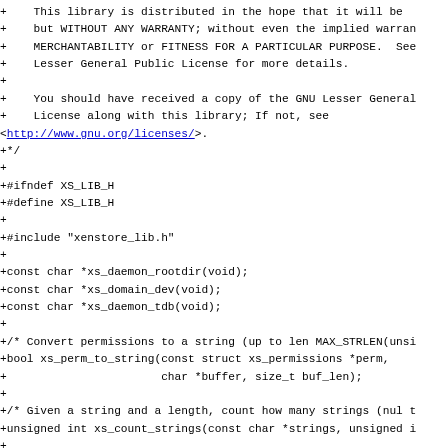+    This library is distributed in the hope that it will be
+    but WITHOUT ANY WARRANTY; without even the implied warran
+    MERCHANTABILITY or FITNESS FOR A PARTICULAR PURPOSE.  See
+    Lesser General Public License for more details.
+
+    You should have received a copy of the GNU Lesser General
+    License along with this library; If not, see
<http://www.gnu.org/licenses/>.
+*/
+
+#ifndef XS_LIB_H
+#define XS_LIB_H
+
+#include "xenstore_lib.h"
+
+const char *xs_daemon_rootdir(void);
+const char *xs_domain_dev(void);
+const char *xs_daemon_tdb(void);
+
+/* Convert permissions to a string (up to len MAX_STRLEN(unsi
+bool xs_perm_to_string(const struct xs_permissions *perm,
+                       char *buffer, size_t buf_len);
+
+/* Given a string and a length, count how many strings (nul t
+unsigned int xs_count_strings(const char *strings, unsigned i
+